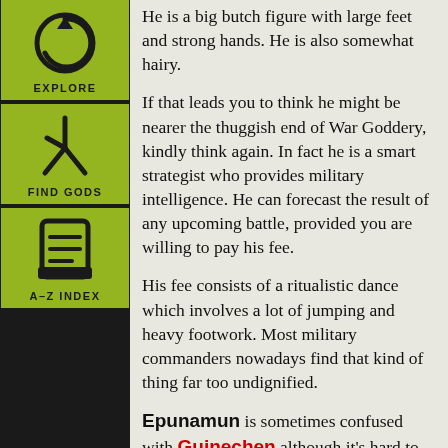[Figure (illustration): Sidebar with green navigation items: EXPLORE (circular arrow icon), FIND GODS (rune-like symbol), A-Z INDEX (tablet/list icon)]
He is a big butch figure with large feet and strong hands. He is also somewhat hairy.
If that leads you to think he might be nearer the thuggish end of War Goddery, kindly think again. In fact he is a smart strategist who provides military intelligence. He can forecast the result of any upcoming battle, provided you are willing to pay his fee.
His fee consists of a ritualistic dance which involves a lot of jumping and heavy footwork. Most military commanders nowadays find that kind of thing far too undignified.
Epunamun is sometimes confused with Guinechen although it's hard to see why.
He can also be found in other South...